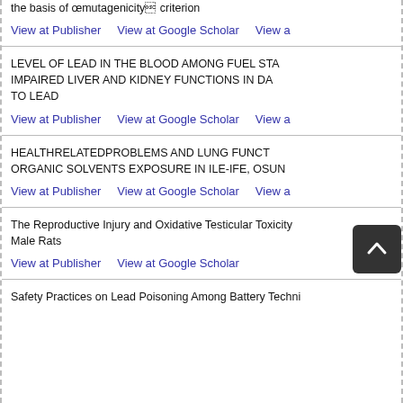the basis of mutagenicity criterion
View at Publisher   View at Google Scholar   View a
LEVEL OF LEAD IN THE BLOOD AMONG FUEL STA IMPAIRED LIVER AND KIDNEY FUNCTIONS IN DA TO LEAD
View at Publisher   View at Google Scholar   View a
HEALTHRELATEDPROBLEMS AND LUNG FUNCT ORGANIC SOLVENTS EXPOSURE IN ILE-IFE, OSUN
View at Publisher   View at Google Scholar   View a
The Reproductive Injury and Oxidative Testicular Toxicity Male Rats
View at Publisher   View at Google Scholar
Safety Practices on Lead Poisoning Among Battery Techni